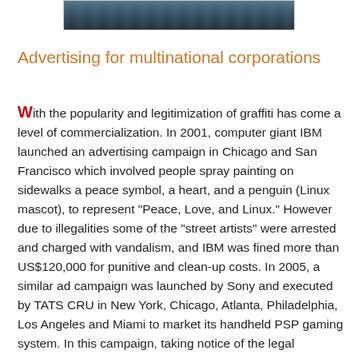[Figure (photo): Partial photo at top of page showing a graffiti or street art scene, cropped at the bottom edge]
Advertising for multinational corporations
With the popularity and legitimization of graffiti has come a level of commercialization. In 2001, computer giant IBM launched an advertising campaign in Chicago and San Francisco which involved people spray painting on sidewalks a peace symbol, a heart, and a penguin (Linux mascot), to represent "Peace, Love, and Linux." However due to illegalities some of the "street artists" were arrested and charged with vandalism, and IBM was fined more than US$120,000 for punitive and clean-up costs. In 2005, a similar ad campaign was launched by Sony and executed by TATS CRU in New York, Chicago, Atlanta, Philadelphia, Los Angeles and Miami to market its handheld PSP gaming system. In this campaign, taking notice of the legal problems of the IBM campaign, Sony paid building owners for the